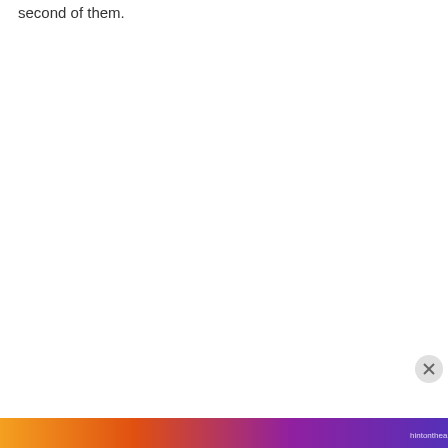second of them.
[Figure (screenshot): Cookie consent banner overlay with privacy notice text and close button]
Privacy & Cookies: This site uses cookies. By continuing to use this website, you agree to their use.
To find out more, including how to control cookies, see here: Cookie Policy
Close and accept
[Figure (illustration): Colorful decorative banner at the bottom of the page with gradient colors from orange to purple]